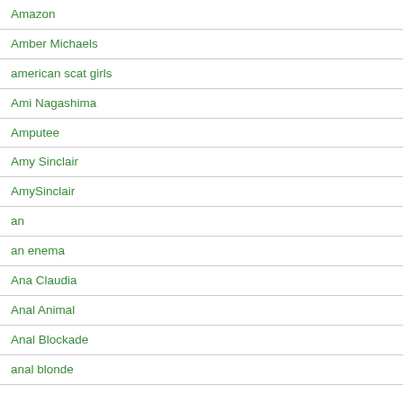Amazon
Amber Michaels
american scat girls
Ami Nagashima
Amputee
Amy Sinclair
AmySinclair
an
an enema
Ana Claudia
Anal Animal
Anal Blockade
anal blonde